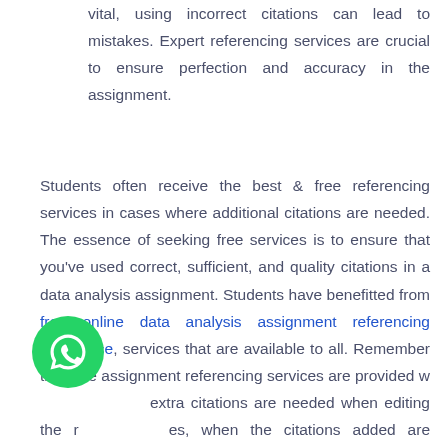vital, using incorrect citations can lead to mistakes. Expert referencing services are crucial to ensure perfection and accuracy in the assignment.
Students often receive the best & free referencing services in cases where additional citations are needed. The essence of seeking free services is to ensure that you've used correct, sufficient, and quality citations in a data analysis assignment. Students have benefitted from free online data analysis assignment referencing assistance, services that are available to all. Remember that free assignment referencing services are provided when extra citations are needed when editing the references, when the citations added are wrong, or when a client isn't satisfied by the citations added.